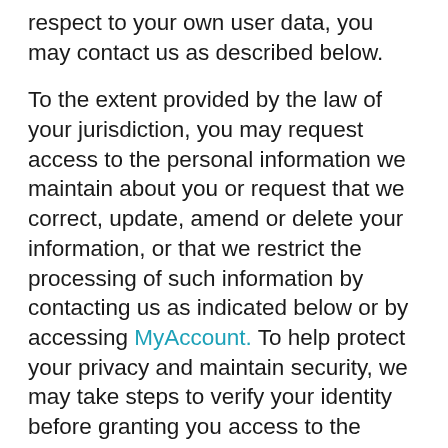respect to your own user data, you may contact us as described below.
To the extent provided by the law of your jurisdiction, you may request access to the personal information we maintain about you or request that we correct, update, amend or delete your information, or that we restrict the processing of such information by contacting us as indicated below or by accessing MyAccount. To help protect your privacy and maintain security, we may take steps to verify your identity before granting you access to the information. To the extent permitted by applicable law, a charge may apply before we provide you with a copy of any of your personal information that we maintain. Depending on your location, you may have the right to file a complaint with a